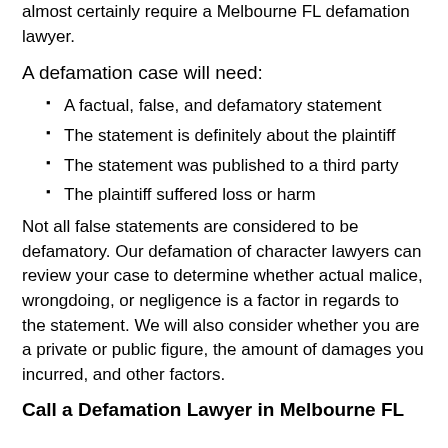standard. These are complicated cases that will almost certainly require a Melbourne FL defamation lawyer.
A defamation case will need:
A factual, false, and defamatory statement
The statement is definitely about the plaintiff
The statement was published to a third party
The plaintiff suffered loss or harm
Not all false statements are considered to be defamatory. Our defamation of character lawyers can review your case to determine whether actual malice, wrongdoing, or negligence is a factor in regards to the statement. We will also consider whether you are a private or public figure, the amount of damages you incurred, and other factors.
Call a Defamation Lawyer in Melbourne FL